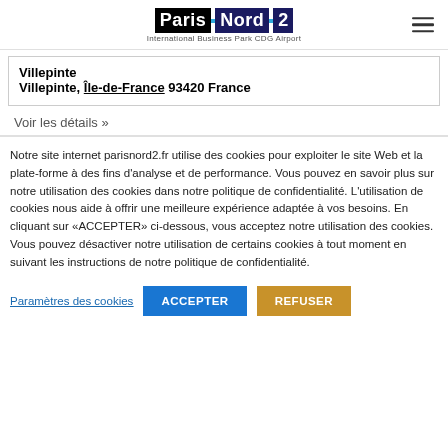Paris Nord 2 – International Business Park CDG Airport
Villepinte
Villepinte, Île-de-France 93420 France
Voir les détails »
Notre site internet parisnord2.fr utilise des cookies pour exploiter le site Web et la plate-forme à des fins d'analyse et de performance. Vous pouvez en savoir plus sur notre utilisation des cookies dans notre politique de confidentialité. L'utilisation de cookies nous aide à offrir une meilleure expérience adaptée à vos besoins. En cliquant sur «ACCEPTER» ci-dessous, vous acceptez notre utilisation des cookies. Vous pouvez désactiver notre utilisation de certains cookies à tout moment en suivant les instructions de notre politique de confidentialité.
Paramètres des cookies
ACCEPTER
REFUSER